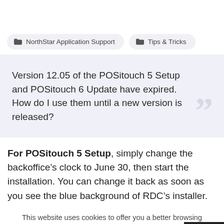NorthStar Application Support
Tips & Tricks
Version 12.05 of the POSitouch 5 Setup and POSitouch 6 Update have expired. How do I use them until a new version is released?
For POSitouch 5 Setup, simply change the backoffice's clock to June 30, then start the installation. You can change it back as soon as you see the blue background of RDC's installer.
This website uses cookies to offer you a better browsing